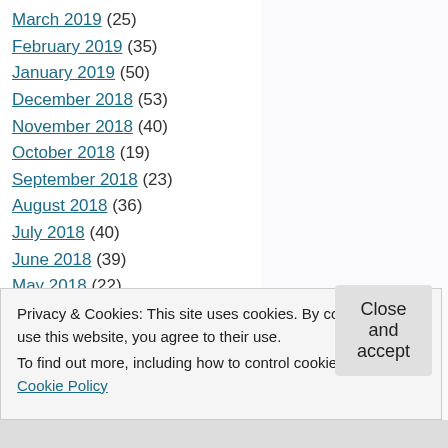March 2019 (25)
February 2019 (35)
January 2019 (50)
December 2018 (53)
November 2018 (40)
October 2018 (19)
September 2018 (23)
August 2018 (36)
July 2018 (40)
June 2018 (39)
May 2018 (22)
April 2018 (29)
March 2018 (28)
Privacy & Cookies: This site uses cookies. By continuing to use this website, you agree to their use. To find out more, including how to control cookies, see here: Cookie Policy
Close and accept